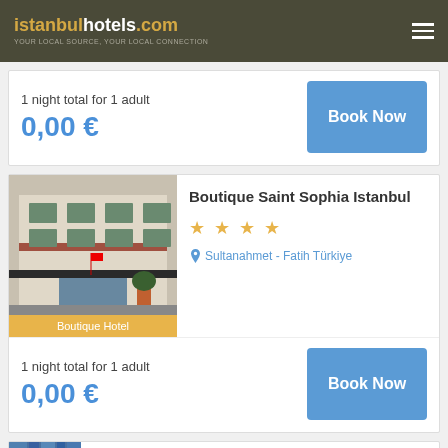istanbulhotels.com YOUR LOCAL SOURCE, YOUR LOCAL CONNECTION
1 night total for 1 adult
0,00 €
Book Now
[Figure (photo): Boutique Saint Sophia Istanbul hotel exterior photo]
Boutique Saint Sophia Istanbul
★ ★ ★ ★
Sultanahmet - Fatih Türkiye
Boutique Hotel
1 night total for 1 adult
0,00 €
Book Now
[Figure (photo): Third hotel partial image visible at bottom]